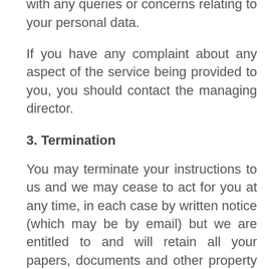how you may contact us in connection with any queries or concerns relating to your personal data.
If you have any complaint about any aspect of the service being provided to you, you should contact the managing director.
3. Termination
You may terminate your instructions to us and we may cease to act for you at any time, in each case by written notice (which may be by email) but we are entitled to and will retain all your papers, documents and other property in our possession while there is money owing to us for our fees and expenses in relation to any matter.
Any termination of our professional relationship will not affect any accrued rights or liabilities of either party and shall